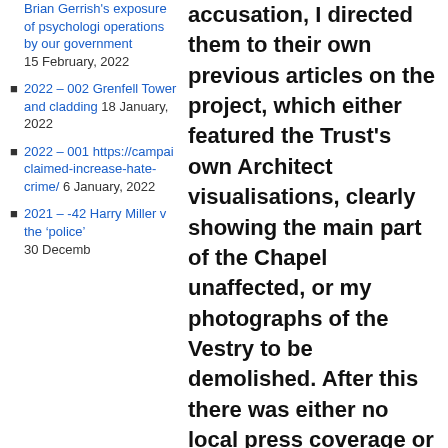Brian Gerrish's exposure of psychological operations by our government 15 February, 2022
2022 – 002 Grenfell Tower and cladding 18 January, 2022
2022 – 001 https://campai claimed-increase-hate-crime/ 6 January, 2022
2021 – -42 Harry Miller v the 'police' 30 December...
accusation, I directed them to their own previous articles on the project, which either featured the Trust's own Architect visualisations, clearly showing the main part of the Chapel unaffected, or my photographs of the Vestry to be demolished. After this there was either no local press coverage or only token articles.
When the petition was first started, I contacted every RIBA... historical...